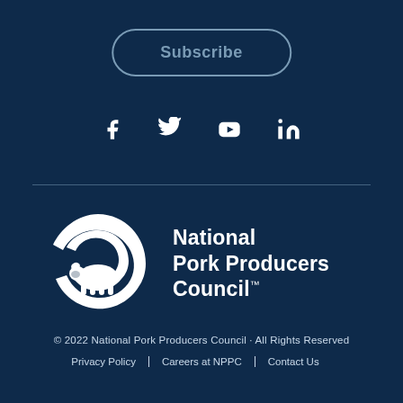Subscribe
[Figure (other): Social media icons: Facebook, Twitter, YouTube, LinkedIn]
[Figure (logo): National Pork Producers Council logo with white pig/swirl icon and text 'National Pork Producers Council™']
© 2022 National Pork Producers Council · All Rights Reserved | Privacy Policy | Careers at NPPC | Contact Us